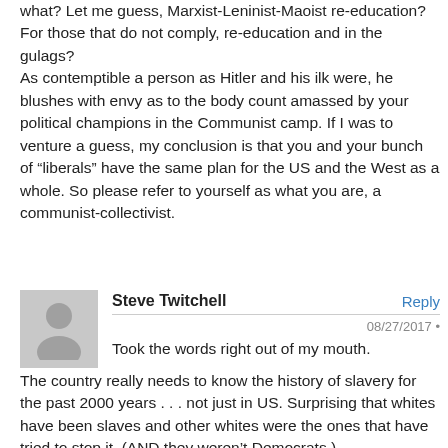what? Let me guess, Marxist-Leninist-Maoist re-education? For those that do not comply, re-education and in the gulags? As contemptible a person as Hitler and his ilk were, he blushes with envy as to the body count amassed by your political champions in the Communist camp. If I was to venture a guess, my conclusion is that you and your bunch of “liberals” have the same plan for the US and the West as a whole. So please refer to yourself as what you are, a communist-collectivist.
Steve Twitchell
Reply
08/27/2017 •
Took the words right out of my mouth. The country really needs to know the history of slavery for the past 2000 years . . . not just in US. Surprising that whites have been slaves and other whites were the ones that have tried to stop it. (AND they weren't Democrats,)